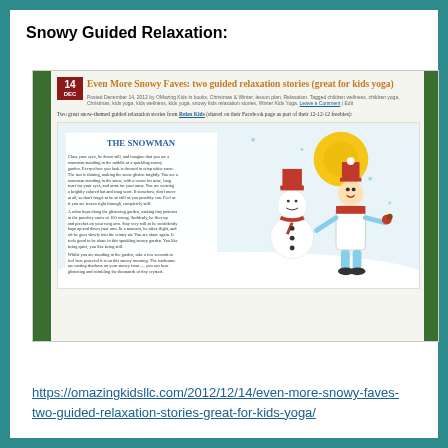Snowy Guided Relaxation:
[Figure (screenshot): Screenshot of a blog post titled 'Even More Snowy Faves: two guided relaxation stories (great for kids yoga)' from omazingkidsllc.com, dated December 14, 2012, showing a snowman illustration with text from a guided relaxation story called 'The Snowman'.]
https://omazingkidsllc.com/2012/12/14/even-more-snowy-faves-two-guided-relaxation-stories-great-for-kids-yoga/